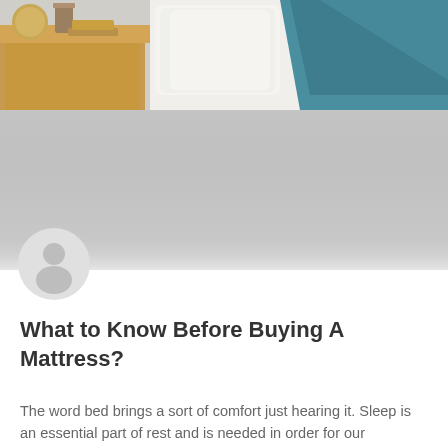[Figure (photo): Bedroom scene showing a bed with white pillows and teal/blue blanket, and a wooden nightstand with items on it. Lower portion fades to a light gray gradient.]
[Figure (illustration): Circular avatar/profile icon with a generic person silhouette in light gray, partially overlapping the bottom of the hero image.]
What to Know Before Buying A Mattress?
The word bed brings a sort of comfort just hearing it. Sleep is an essential part of rest and is needed in order for our